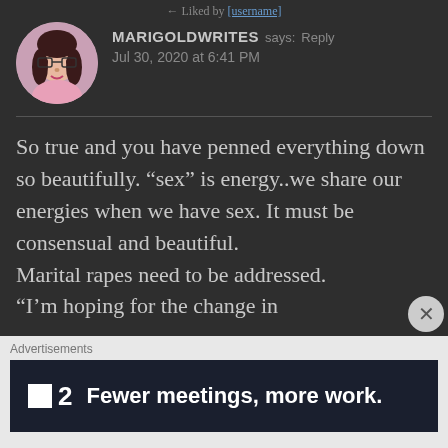← Liked by [username]
MARIGOLDWRITES says: Reply
Jul 30, 2020 at 6:41 PM
So true and you have penned everything down so beautifully. “sex” is energy..we share our energies when we have sex. It must be consensual and beautiful.
Marital rapes need to be addressed.
“I’m hoping for the change in
Advertisements
Fewer meetings, more work.